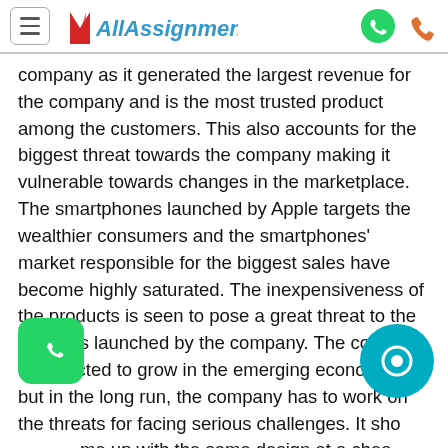AllAssignmentHelp
company as it generated the largest revenue for the company and is the most trusted product among the customers. This also accounts for the biggest threat towards the company making it vulnerable towards changes in the marketplace. The smartphones launched by Apple targets the wealthier consumers and the smartphones' market responsible for the biggest sales have become highly saturated. The inexpensiveness of the products is seen to pose a great threat to the products launched by the company. The company is expected to grow in the emerging economies but in the long run, the company has to work on the threats for facing serious challenges. It should come up with the same design at a cheaper price for during the middle section of the society. The organization has the best set of systems, technology, and operating units and therefore the